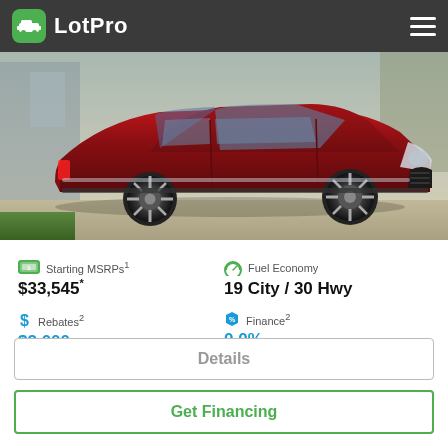LotPro
[Figure (photo): Red Chrysler 300 sedan parked in front of a building, side-front view]
Starting MSRPs¹
$33,545*
Fuel Economy
19 City / 30 Hwy
Rebates²
$2,000
Finance²
0.0%
Details
Get Financing